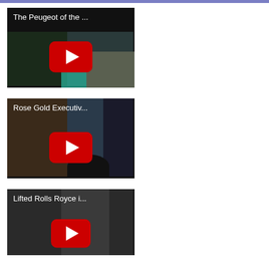[Figure (screenshot): YouTube video thumbnail: 'The Peugeot of the ...' with red YouTube play button on dark background]
[Figure (screenshot): YouTube video thumbnail: 'Rose Gold Executiv...' with red YouTube play button showing car exterior]
[Figure (screenshot): YouTube video thumbnail: 'Lifted Rolls Royce i...' with red YouTube play button on dark background]